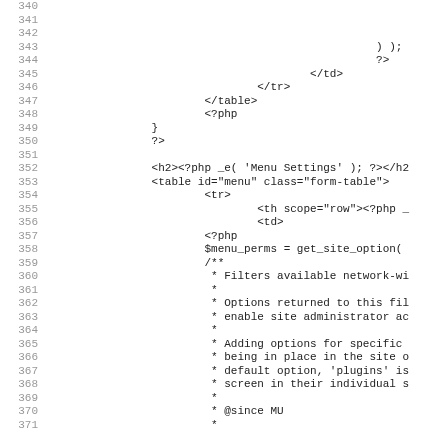Code listing lines 340-371, PHP/HTML source code
340
341
342
343    ) );
344    ?>
345                </td>
346            </tr>
347        </table>
348        <?php
349    }
350    ?>
351
352    <h2><?php _e( 'Menu Settings' ); ?></h2
353    <table id="menu" class="form-table">
354            <tr>
355                <th scope="row"><?php _
356                <td>
357        <?php
358        $menu_perms = get_site_option(
359        /**
360         * Filters available network-wi
361         *
362         * Options returned to this fil
363         * enable site administrator ac
364         *
365         * Adding options for specific
366         * being in place in the site o
367         * default option, 'plugins' is
368         * screen in their individual s
369         *
370         * @since MU
371         *